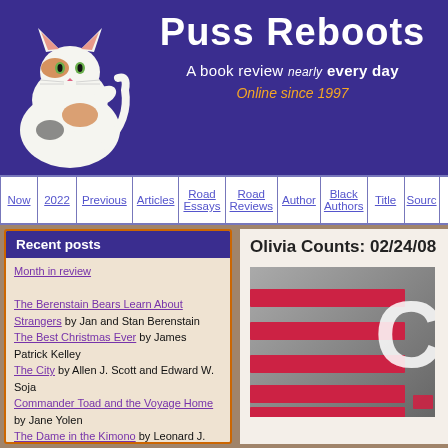[Figure (illustration): Puss Reboots website header with calico cat image on purple background, site title 'Puss Reboots', subtitle 'A book review nearly every day', tagline 'Online since 1997']
Now | 2022 | Previous | Articles | Road Essays | Road Reviews | Author | Black Authors | Title | Source
Recent posts
Month in review
The Berenstain Bears Learn About Strangers by Jan and Stan Berenstain
The Best Christmas Ever by James Patrick Kelley
The City by Allen J. Scott and Edward W. Soja
Commander Toad and the Voyage Home by Jane Yolen
The Dame in the Kimono by Leonard J. Leff by Jerold L. Simmons
Olivia Counts: 02/24/08
[Figure (photo): Book cover of 'Olivia Counts' showing horizontal red/pink stripes on a grey background with a partial white letter C visible on the right side]